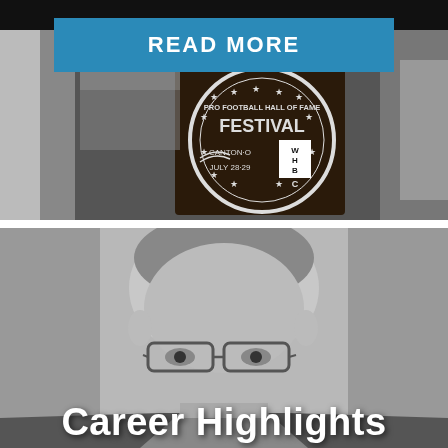[Figure (photo): Black and white photograph showing a WHBC microphone/sign at the Pro Football Hall of Fame Festival in Canton, Ohio, July 28-29. People seated in background.]
[Figure (other): Blue 'READ MORE' button overlaid on top photograph]
[Figure (photo): Black and white portrait photograph of a man wearing glasses, with text 'Career Highlights' in white bold letters overlaid at the bottom.]